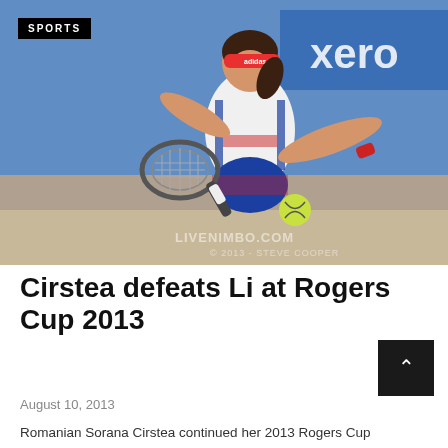[Figure (photo): Female tennis player in white, red and blue Adidas outfit hitting a backhand shot on a hard court. She wears a red Adidas visor. A blue Xerox advertising banner is visible in the background. LIVENIMBO.COM watermark visible.]
SPORTS
Cirstea defeats Li at Rogers Cup 2013
August 10, 2013
Romanian Sorana Cirstea continued her 2013 Rogers Cup